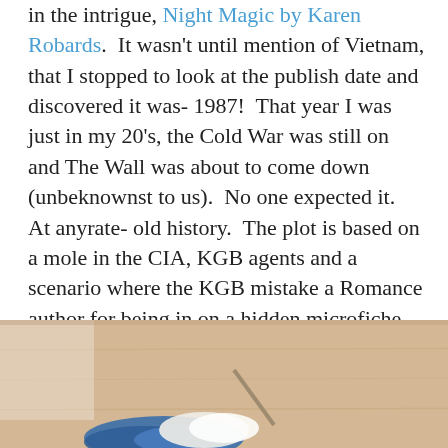in the intrigue, Night Magic by Karen Robards.  It wasn't until mention of Vietnam, that I stopped to look at the publish date and discovered it was- 1987!  That year I was just in my 20's, the Cold War was still on and The Wall was about to come down (unbeknownst to us).  No one expected it.  At anyrate- old history.  The plot is based on a mole in the CIA, KGB agents and a scenario where the KGB mistake a Romance author for being in on a hidden microfiche and spy network.  Her cat gets involved in the chase and -of course- a chiseled American Spy who looks like he's gone rogue.  Really very good.  And it's been a hard week for me.  A piece of fiction that lets me disappear is all good.
[Figure (photo): Partial view of a photo showing what appears to be knitting or craft work on a wooden surface, with blue yarn visible at the bottom and a blurred background.]